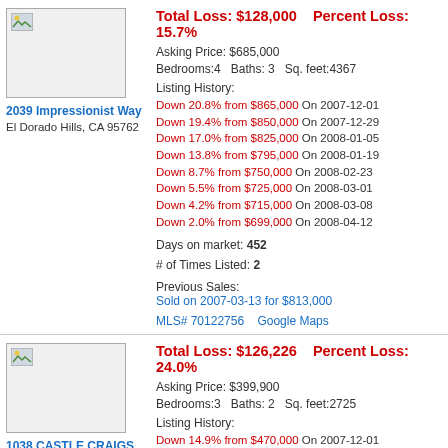Total Loss: $128,000    Percent Loss: 15.7%
Asking Price: $685,000
Bedrooms:4    Baths: 3    Sq. feet:4367
Listing History:
Down 20.8% from $865,000 On 2007-12-01
Down 19.4% from $850,000 On 2007-12-29
Down 17.0% from $825,000 On 2008-01-05
Down 13.8% from $795,000 On 2008-01-19
Down 8.7% from $750,000 On 2008-02-23
Down 5.5% from $725,000 On 2008-03-01
Down 4.2% from $715,000 On 2008-03-08
Down 2.0% from $699,000 On 2008-04-12
Days on market: 452
# of Times Listed: 2
Previous Sales:
Sold on 2007-03-13 for $813,000
MLS# 70122756    Google Maps
2039 Impressionist Way
El Dorado Hills, CA 95762
Total Loss: $126,226    Percent Loss: 24.0%
Asking Price: $399,900
Bedrooms:3    Baths: 2    Sq. feet:2725
Listing History:
Down 14.9% from $470,000 On 2007-12-01
Down 12.9% from $459,000 On 2008-01-05
Down 11.3% from $451,000 On 2008-02-16
1038 CASTLE CRAIGS Ct
El Dorado Hills, CA 95762